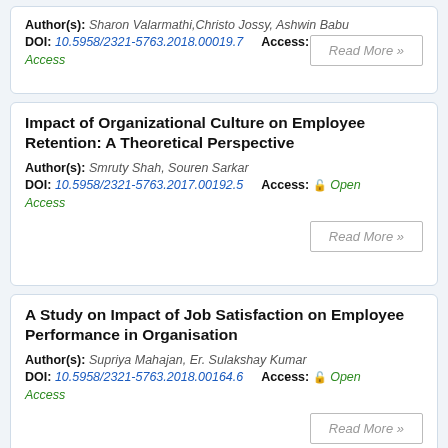Author(s): Sharon Valarmathi,Christo Jossy, Ashwin Babu
DOI: 10.5958/2321-5763.2018.00019.7   Access: Open Access
Read More »
Impact of Organizational Culture on Employee Retention: A Theoretical Perspective
Author(s): Smruty Shah, Souren Sarkar
DOI: 10.5958/2321-5763.2017.00192.5   Access: Open Access
Read More »
A Study on Impact of Job Satisfaction on Employee Performance in Organisation
Author(s): Supriya Mahajan, Er. Sulakshay Kumar
DOI: 10.5958/2321-5763.2018.00164.6   Access: Open Access
Read More »